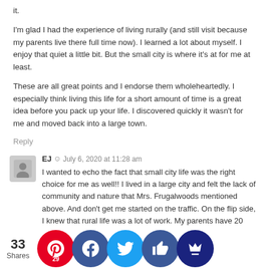it.
I'm glad I had the experience of living rurally (and still visit because my parents live there full time now). I learned a lot about myself. I enjoy that quiet a little bit. But the small city is where it's at for me at least.
These are all great points and I endorse them wholeheartedly. I especially think living this life for a short amount of time is a great idea before you pack up your life. I discovered quickly it wasn't for me and moved back into a large town.
Reply
EJ  July 6, 2020 at 11:28 am
I wanted to echo the fact that small city life was the right choice for me as well!! I lived in a large city and felt the lack of community and nature that Mrs. Frugalwoods mentioned above. And don't get me started on the traffic. On the flip side, I knew that rural life was a lot of work. My parents have 20 acres 15 minutes outside of our small city and I now how m k it is their l ntaine e the ca ce of ose to e and